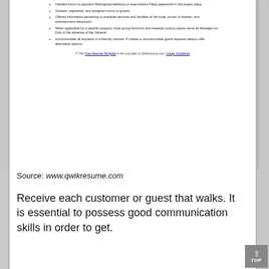[Figure (screenshot): A clipped document page showing bullet-point list items from a resume, followed by a copyright footer line referencing Free Resume Template and Qwikresume.com with Usage Guidelines.]
Handled forms of payment Making/cancellations of reservations Filing paperwork in the proper place.
Greeted, registered, and assigned rooms to guests.
Offered information pertaining to available services and facilities of the hotel, points of interest, and entertainment attractions.
When applicable for a specific property, book group functions and meeting room(s) space serve as Manager-on-Duty in the absence of the General.
Accommodate all requests in a friendly manner. If unable to accommodate guest requests always offer alternative options.
© This Free Resume Template is the copyright of Qwikresume.com. Usage Guidelines
Source: www.qwikresume.com
Receive each customer or guest that walks. It is essential to possess good communication skills in order to get.